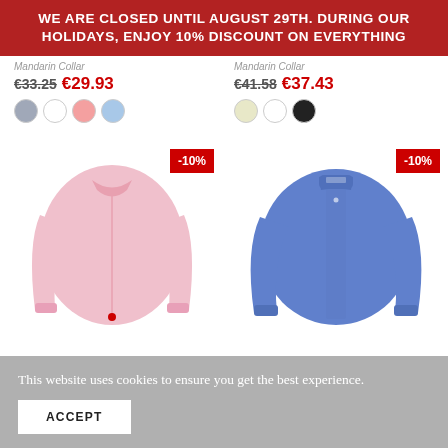WE ARE CLOSED UNTIL AUGUST 29th. DURING OUR HOLIDAYS, ENJOY 10% DISCOUNT ON EVERYTHING
Mandarin Collar
€33.25 €29.93
Mandarin Collar
€41.58 €37.43
[Figure (photo): Pink long-sleeve mandarin collar shirt with -10% discount badge]
[Figure (photo): Blue long-sleeve mandarin collar shirt with -10% discount badge]
This website uses cookies to ensure you get the best experience.
ACCEPT